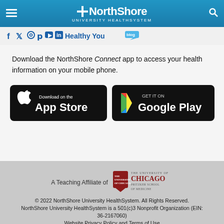[Figure (logo): NorthShore University HealthSystem logo with plus sign and blue header bar]
[Figure (infographic): Social media icons (Facebook, Twitter, Instagram, Pinterest, YouTube, LinkedIn) followed by 'Healthy You blog' link]
Download the NorthShore Connect app to access your health information on your mobile phone.
[Figure (screenshot): Download on the App Store button (black)]
[Figure (screenshot): Get it on Google Play button (black)]
[Figure (logo): The University of Chicago Pritzker School of Medicine logo]
A Teaching Affiliate of
© 2022 NorthShore University HealthSystem. All Rights Reserved. NorthShore University HealthSystem is a 501(c)3 Nonprofit Organization (EIN: 36-2167060) Website Privacy Policy and Terms of Use